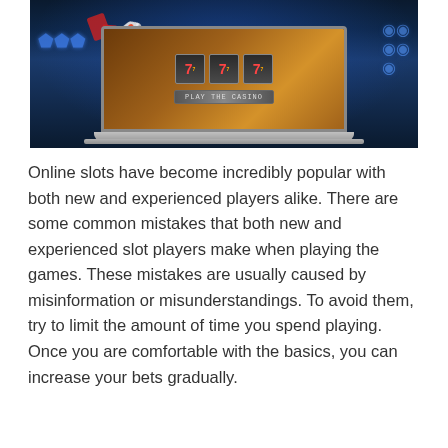[Figure (photo): A laptop computer displaying a casino slot machine screen with the number 777, surrounded by flying dice, poker chips, and playing cards against a dark blue background.]
Online slots have become incredibly popular with both new and experienced players alike. There are some common mistakes that both new and experienced slot players make when playing the games. These mistakes are usually caused by misinformation or misunderstandings. To avoid them, try to limit the amount of time you spend playing. Once you are comfortable with the basics, you can increase your bets gradually.